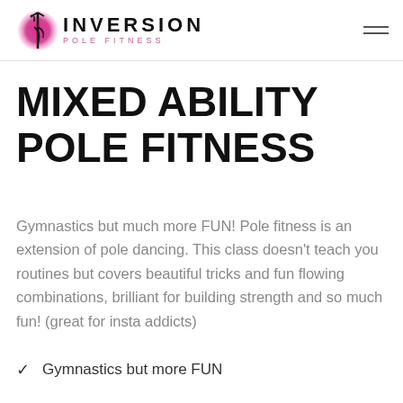INVERSION Pole Fitness
MIXED ABILITY POLE FITNESS
Gymnastics but much more FUN! Pole fitness is an extension of pole dancing. This class doesn't teach you routines but covers beautiful tricks and fun flowing combinations, brilliant for building strength and so much fun! (great for insta addicts)
Gymnastics but more FUN